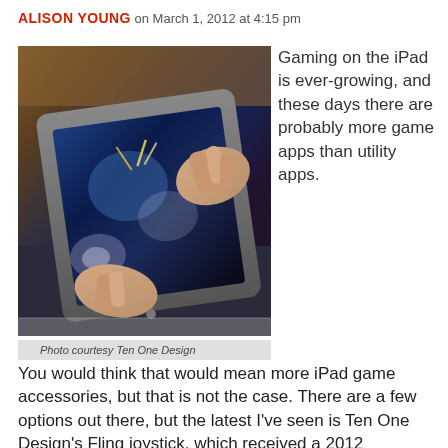ALISON YOUNG on March 1, 2012 at 4:15 pm
[Figure (photo): Person's hands holding an iPad while gaming, using a joystick accessory. The screen shows a game with blue/dark tones. The device rests on the person's lap.]
Photo courtesy Ten One Design
Gaming on the iPad is ever-growing, and these days there are probably more game apps than utility apps.
You would think that would mean more iPad game accessories, but that is not the case. There are a few options out there, but the latest I've seen is Ten One Design's Fling joystick, which received a 2012 International Consumer Electronics Show Design &